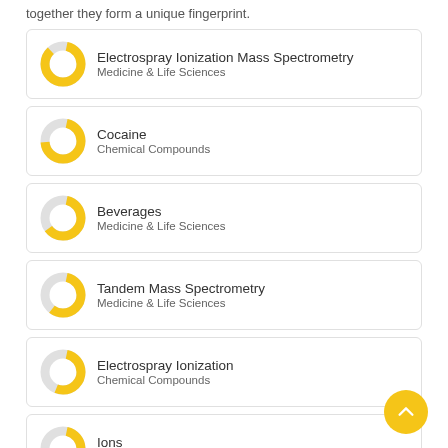together they form a unique fingerprint.
Electrospray Ionization Mass Spectrometry — Medicine & Life Sciences
Cocaine — Chemical Compounds
Beverages — Medicine & Life Sciences
Tandem Mass Spectrometry — Medicine & Life Sciences
Electrospray Ionization — Chemical Compounds
Ions — Medicine & Life Sciences